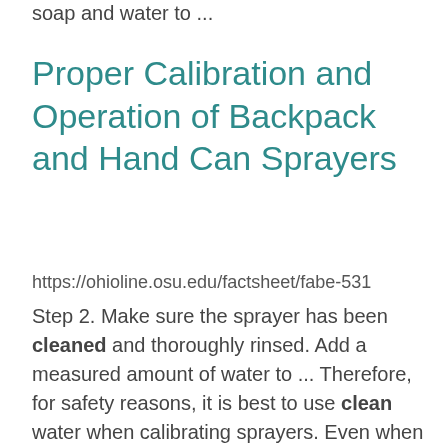soap and water to ...
Proper Calibration and Operation of Backpack and Hand Can Sprayers
https://ohioline.osu.edu/factsheet/fabe-531
Step 2. Make sure the sprayer has been cleaned and thoroughly rinsed. Add a measured amount of water to ... Therefore, for safety reasons, it is best to use clean water when calibrating sprayers. Even when using clean ... spraying, and cleaning equipment. Goggles and rubber gloves are standard equipment when handling